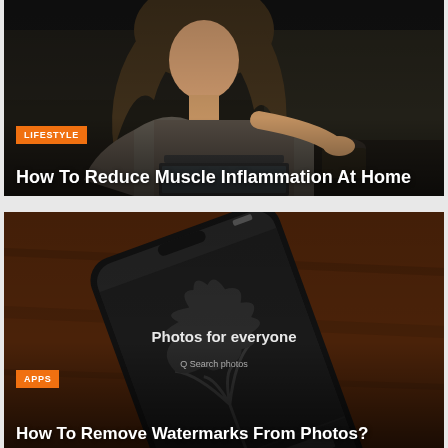[Figure (photo): Dark photo of a woman with curly blonde hair sitting at a kitchen table in dim lighting, appearing to drink from a cup]
LIFESTYLE
How To Reduce Muscle Inflammation At Home
[Figure (photo): Dark photo of a smartphone displaying a Unsplash-like screen showing 'Photos for everyone' with a search bar, placed on a dark wooden surface]
APPS
How To Remove Watermarks From Photos?